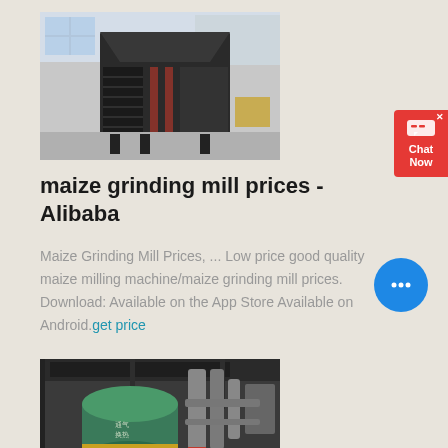[Figure (photo): Industrial maize grinding mill machine in factory setting, viewed from an angle showing dark metal frame and conveyor structure]
maize grinding mill prices - Alibaba
Maize Grinding Mill Prices, ... Low price good quality maize milling machine/maize grinding mill prices. Download: Available on the App Store Available on Android.get price
[Figure (photo): Industrial grinding mill machinery in a factory, showing green cylindrical drum/roller and metal piping structures]